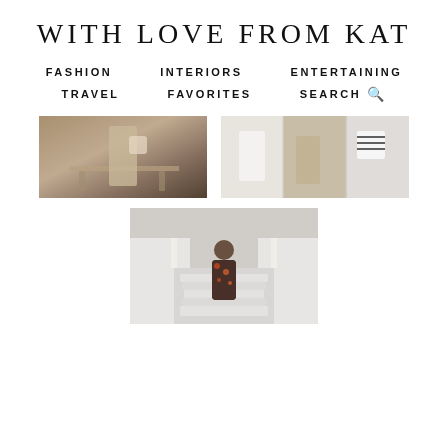WITH LOVE FROM KAT
FASHION
INTERIORS
ENTERTAINING
TRAVEL
FAVORITES
SEARCH
[Figure (photo): Woman in neutral/beige wide-leg pants carrying a tote bag, outdoor setting with garden bench]
[Figure (photo): Three fashion photos showing cream/beige outfits: white loungewear, beige trousers, and black-and-white striped top with white pieces]
[Figure (photo): Woman in floral/tropical print maxi dress standing on white outdoor stairs]